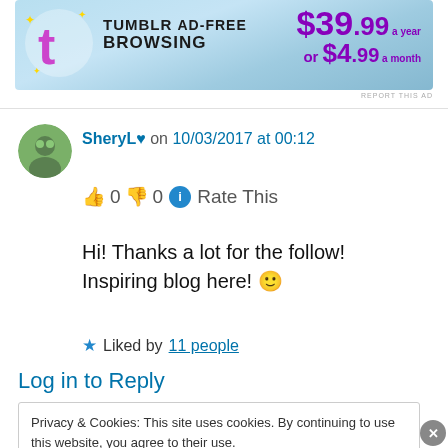[Figure (screenshot): Tumblr ad banner: AD-FREE BROWSING $39.99 a year or $4.99 a month]
REPORT THIS AD
SheryL♥ on 10/03/2017 at 00:12
👍 0 👎 0 ℹ️ Rate This
Hi! Thanks a lot for the follow!
Inspiring blog here! 🙂
★ Liked by 11 people
Log in to Reply
Privacy & Cookies: This site uses cookies. By continuing to use this website, you agree to their use.
To find out more, including how to control cookies, see here: Cookie Policy